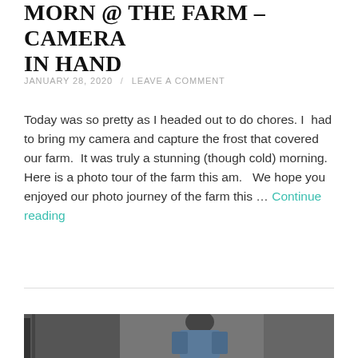Morn @ The Farm – Camera In Hand
JANUARY 28, 2020 / LEAVE A COMMENT
Today was so pretty as I headed out to do chores. I had to bring my camera and capture the frost that covered our farm. It was truly a stunning (though cold) morning. Here is a photo tour of the farm this am. We hope you enjoyed our photo journey of the farm this … Continue reading
[Figure (photo): Partial view of a farm photo showing a person, partially cropped at the bottom of the page]